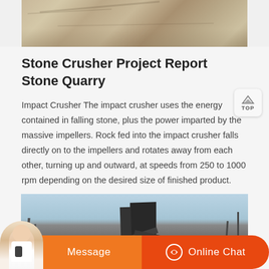[Figure (photo): Aerial/ground-level photo of a quarry or stone crushing site with sandy terrain and machinery tracks]
Stone Crusher Project Report Stone Quarry
Impact Crusher The impact crusher uses the energy contained in falling stone, plus the power imparted by the massive impellers. Rock fed into the impact crusher falls directly on to the impellers and rotates away from each other, turning up and outward, at speeds from 250 to 1000 rpm depending on the desired size of finished product.
[Figure (photo): Photo of a stone crushing plant with conveyor belts, large machinery, and industrial equipment under blue sky]
[Figure (other): Mobile chat bar with Message and Online Chat buttons, and customer service avatar]